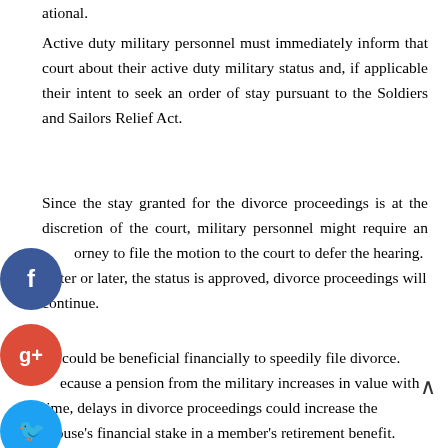ational.
Active duty military personnel must immediately inform that court about their active duty military status and, if applicable their intent to seek an order of stay pursuant to the Soldiers and Sailors Relief Act.
Since the stay granted for the divorce proceedings is at the discretion of the court, military personnel might require an attorney to file the motion to the court to defer the hearing. Later or later, the status is approved, divorce proceedings will continue.
It could be beneficial financially to speedily file divorce. Because a pension from the military increases in value with time, delays in divorce proceedings could increase the spouse's financial stake in a member's retirement benefit.